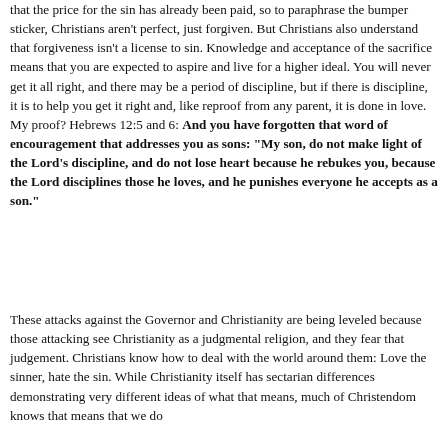that the price for the sin has already been paid, so to paraphrase the bumper sticker, Christians aren't perfect, just forgiven. But Christians also understand that forgiveness isn't a license to sin. Knowledge and acceptance of the sacrifice means that you are expected to aspire and live for a higher ideal. You will never get it all right, and there may be a period of discipline, but if there is discipline, it is to help you get it right and, like reproof from any parent, it is done in love. My proof? Hebrews 12:5 and 6: And you have forgotten that word of encouragement that addresses you as sons: "My son, do not make light of the Lord's discipline, and do not lose heart because he rebukes you, because the Lord disciplines those he loves, and he punishes everyone he accepts as a son."
These attacks against the Governor and Christianity are being leveled because those attacking see Christianity as a judgmental religion, and they fear that judgement. Christians know how to deal with the world around them: Love the sinner, hate the sin. While Christianity itself has sectarian differences demonstrating very different ideas of what that means, much of Christendom knows that means that we do